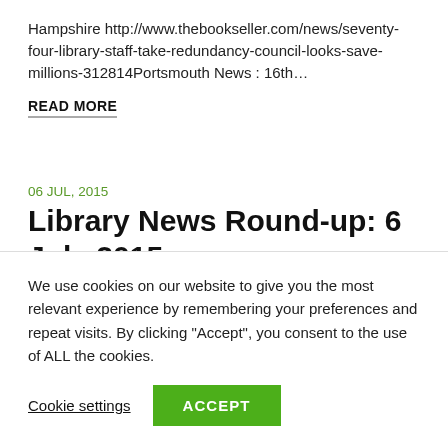Hampshire http://www.thebookseller.com/news/seventy-four-library-staff-take-redundancy-council-looks-save-millions-312814Portsmouth News : 16th…
READ MORE
06 JUL, 2015
Library News Round-up: 6 July 2015
THE GUARDIAN : 6th JulyE-lending won't put a big dent in b...lending the ot the 51% of the population with
We use cookies on our website to give you the most relevant experience by remembering your preferences and repeat visits. By clicking "Accept", you consent to the use of ALL the cookies.
Cookie settings
ACCEPT